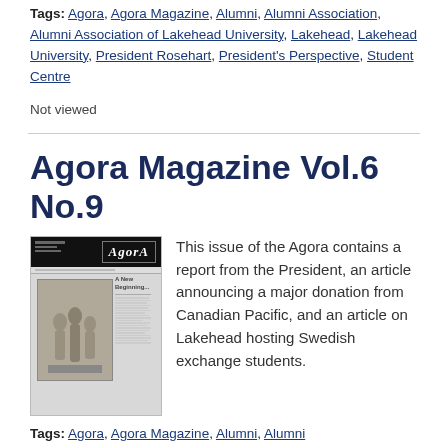Tags: Agora, Agora Magazine, Alumni, Alumni Association, Alumni Association of Lakehead University, Lakehead, Lakehead University, President Rosehart, President's Perspective, Student Centre
Not viewed
Agora Magazine Vol.6 No.9
[Figure (photo): Thumbnail cover image of Agora Magazine Vol.6 No.9, showing the Agora masthead logo on a dark header, with a sculpture photograph below and article text columns.]
This issue of the Agora contains a report from the President, an article announcing a major donation from Canadian Pacific, and an article on Lakehead hosting Swedish exchange students.
Tags: Agora, Agora Magazine, Alumni, Alumni